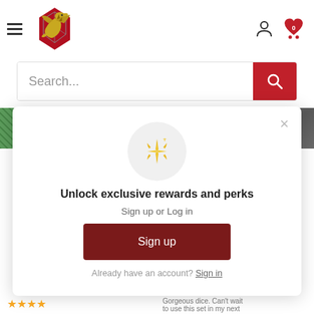[Figure (logo): Dragon with D20 dice logo, gold and red colors]
[Figure (screenshot): Green textured background image and dark gray background image side by side]
[Figure (infographic): Modal popup with sparkle icon, unlock exclusive rewards and perks message, sign up or log in options]
Unlock exclusive rewards and perks
Sign up or Log in
Sign up
Already have an account? Sign in
Gorgeous dice. Can't wait to use this set in my next